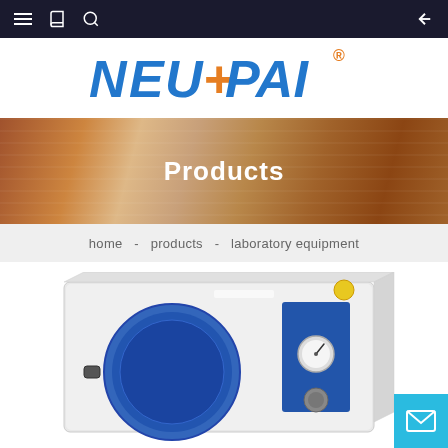Navigation bar with menu, bookmark, search icons and back arrow
[Figure (logo): NEUPAI logo in blue and orange italic bold text with registered trademark symbol]
[Figure (photo): Bronze/copper textured banner background with Products title in white bold text]
home  -  products  -  laboratory equipment
[Figure (photo): Laboratory autoclave/sterilizer machine with blue circular door and white body, partially visible]